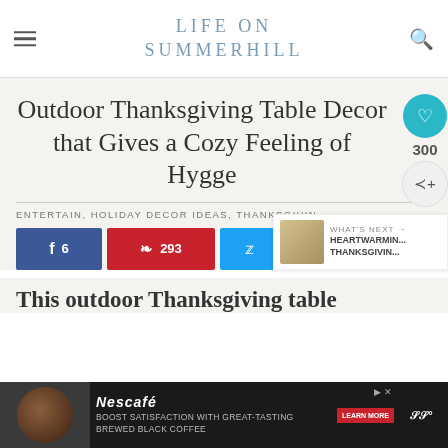LIFE ON SUMMERHILL
Outdoor Thanksgiving Table Decor that Gives a Cozy Feeling of Hygge
ENTERTAIN, HOLIDAY DECOR IDEAS, THANKSGIVING
f 6  293  Twitter  Email
300
WHAT'S NEXT → HEARTWARMIN... THANKSGIVIN...
This outdoor Thanksgiving table d...guests.
NESCAFÉ BOOST SATISFACTION WITH GREAT-TASTING BREWED BLACK COFFEE